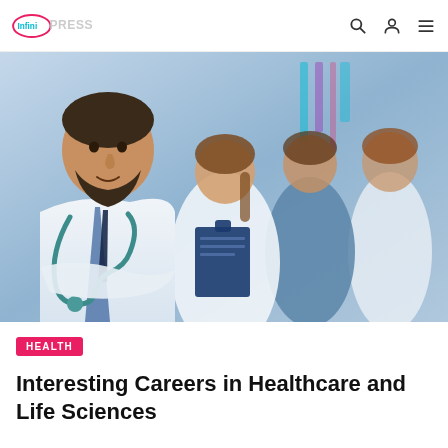InfiniPRESS
[Figure (photo): Four healthcare professionals in white coats and scrubs posing together; a bearded male doctor in the foreground with arms crossed and a stethoscope, followed by three colleagues behind him in a clinical setting.]
HEALTH
Interesting Careers in Healthcare and Life Sciences